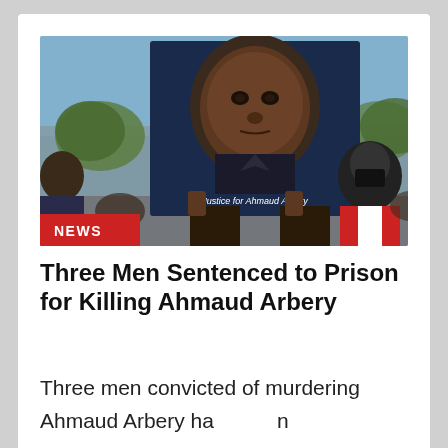[Figure (photo): A protest scene showing a person holding a large painted portrait sign reading 'Justice for Ahmaud Arbery'. Another person in a mask wearing a red and white jacket stands behind. Street scene with traffic lights and trees visible in background. Red NEWS badge overlaid on lower left of photo.]
Three Men Sentenced to Prison for Killing Ahmaud Arbery
Three men convicted of murdering Ahmaud Arbery ha[ve bee]n